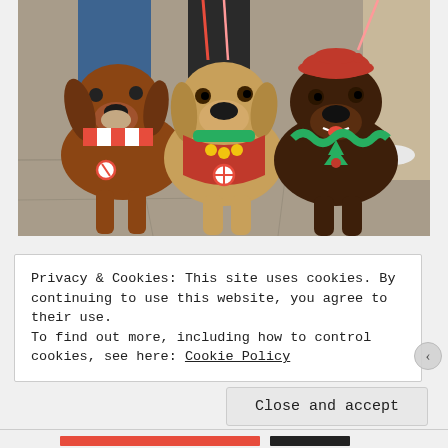[Figure (photo): Three dogs dressed in Christmas/holiday costumes standing on pavement. Left dog is a brown hound mix wearing a red and white striped scarf. Center dog is a golden retriever wearing red vest with green collar and jingle bells. Right dog is a dark brown/chocolate lab wearing a red beret hat and green ruffled collar.]
Privacy & Cookies: This site uses cookies. By continuing to use this website, you agree to their use.
To find out more, including how to control cookies, see here: Cookie Policy
Close and accept